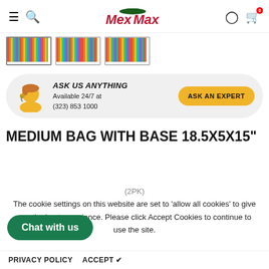MexMax — navigation bar with hamburger, search, logo, account, cart
[Figure (photo): Three product thumbnail images showing colorful striped bags]
ASK US ANYTHING
Available 24/7 at
(323) 853 1000
ASK AN EXPERT
MEDIUM BAG WITH BASE 18.5X5X15"
(2PK)
The cookie settings on this website are set to 'allow all cookies' to give you the best experience. Please click Accept Cookies to continue to use the site.
Chat with us
PRIVACY POLICY   ACCEPT ✔